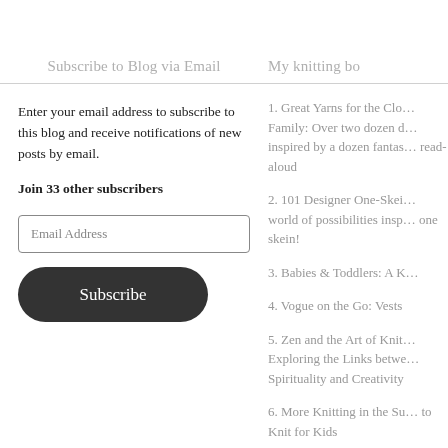Subscribe to Blog via Email
Enter your email address to subscribe to this blog and receive notifications of new posts by email.
Join 33 other subscribers
My knitting bo
1. Great Yarns for the Clo… Family: Over two dozen d… inspired by a dozen fantas… read-aloud
2. 101 Designer One-Skei… world of possibilities insp… one skein!
3. Babies & Toddlers: A K…
4. Vogue on the Go: Vests
5. Zen and the Art of Knit… Exploring the Links betwe… Spirituality and Creativity
6. More Knitting in the Su… to Knit for Kids